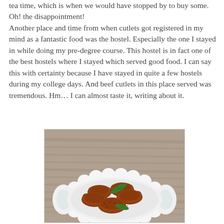tea time, which is when we would have stopped by to buy some. Oh! the disappointment! Another place and time from when cutlets got registered in my mind as a fantastic food was the hostel. Especially the one I stayed in while doing my pre-degree course. This hostel is in fact one of the best hostels where I stayed which served good food. I can say this with certainty because I have stayed in quite a few hostels during my college days. And beef cutlets in this place served was tremendous. Hm… I can almost taste it, writing about it.
[Figure (photo): A white scalloped-edge bowl filled with golden-brown fried beef cutlets, garnished with a green curry leaf, placed on a wooden surface.]